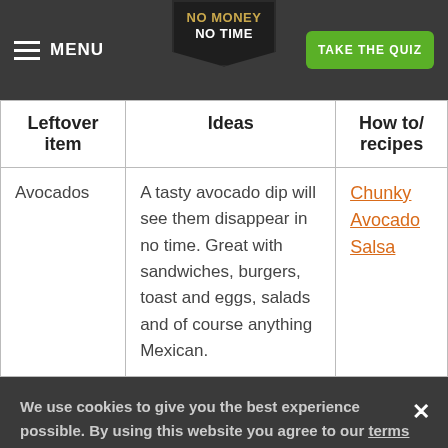MENU | NO MONEY NO TIME | TAKE THE QUIZ
| Leftover item | Ideas | How to/ recipes |
| --- | --- | --- |
| Avocados | A tasty avocado dip will see them disappear in no time. Great with sandwiches, burgers, toast and eggs, salads and of course anything Mexican. | Chunky Avocado Salsa |
We use cookies to give you the best experience possible. By using this website you agree to our terms and cookie policy.